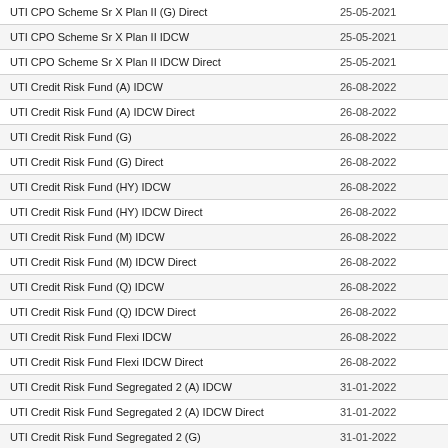| Fund Name | Date |  |
| --- | --- | --- |
| UTI CPO Scheme Sr X Plan II (G) Direct | 25-05-2021 |  |
| UTI CPO Scheme Sr X Plan II IDCW | 25-05-2021 |  |
| UTI CPO Scheme Sr X Plan II IDCW Direct | 25-05-2021 |  |
| UTI Credit Risk Fund (A) IDCW | 26-08-2022 |  |
| UTI Credit Risk Fund (A) IDCW Direct | 26-08-2022 |  |
| UTI Credit Risk Fund (G) | 26-08-2022 |  |
| UTI Credit Risk Fund (G) Direct | 26-08-2022 |  |
| UTI Credit Risk Fund (HY) IDCW | 26-08-2022 |  |
| UTI Credit Risk Fund (HY) IDCW Direct | 26-08-2022 |  |
| UTI Credit Risk Fund (M) IDCW | 26-08-2022 |  |
| UTI Credit Risk Fund (M) IDCW Direct | 26-08-2022 |  |
| UTI Credit Risk Fund (Q) IDCW | 26-08-2022 |  |
| UTI Credit Risk Fund (Q) IDCW Direct | 26-08-2022 |  |
| UTI Credit Risk Fund Flexi IDCW | 26-08-2022 |  |
| UTI Credit Risk Fund Flexi IDCW Direct | 26-08-2022 |  |
| UTI Credit Risk Fund Segregated 2 (A) IDCW | 31-01-2022 |  |
| UTI Credit Risk Fund Segregated 2 (A) IDCW Direct | 31-01-2022 |  |
| UTI Credit Risk Fund Segregated 2 (G) | 31-01-2022 |  |
| UTI Credit Risk Fund Segregated 2 (G) Direct | 31-01-2022 |  |
| UTI Credit Risk Fund Segregated 2 (HY) IDCW | 31-01-2022 |  |
| UTI Credit Risk Fund Segregated 2 (HY) IDCW Direct | 31-01-2022 |  |
| UTI Credit Risk Fund Segregated 2 (M) IDCW | 31-01-2022 |  |
| UTI Credit Risk Fund Segregated 2 (M) IDCW Direct | 31-01-2022 |  |
| UTI Credit Risk Fund Segregated 2 (Q) IDCW | 31-01-2022 |  |